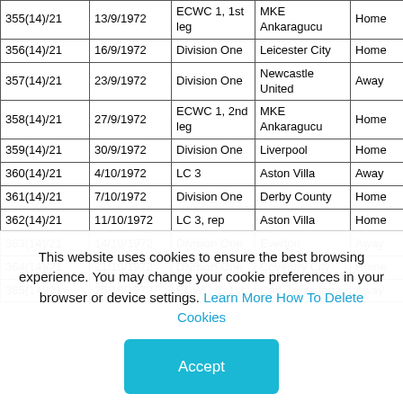|  | Date | Competition | Opponent | Venue | R | Score |  |
| --- | --- | --- | --- | --- | --- | --- | --- |
| 355(14)/21 | 13/9/1972 | ECWC 1, 1st leg | MKE Ankaragucu | Home | W | 1-0 | s |
| 356(14)/21 | 16/9/1972 | Division One | Leicester City | Home | W | 3-1 | s |
| 357(14)/21 | 23/9/1972 | Division One | Newcastle United | Away | L | 2-3 | s |
| 358(14)/21 | 27/9/1972 | ECWC 1, 2nd leg | MKE Ankaragucu | Home | W | 1-0 | s |
| 359(14)/21 | 30/9/1972 | Division One | Liverpool | Home | L | 1-2 | s |
| 360(14)/21 | 4/10/1972 | LC 3 | Aston Villa | Away | D | 1-1 | s |
| 361(14)/21 | 7/10/1972 | Division One | Derby County | Home | W | 5-0 | s |
| 362(14)/21 | 11/10/1972 | LC 3, rep | Aston Villa | Home | W | 2-0 | s |
| 363(14)/21 | 14/10/1972 | Division One | Everton | Away | W | 2-1 | s |
| 364(14)/21 | 21/10/1972 | Division One | Coventry City | Home | D | 1-1 | s |
| 365(14)/21 | 25/10/1972 | ECWC 2, 1st | Carl Zeiss Jena | Away | D | 0-0 | s |
This website uses cookies to ensure the best browsing experience. You may change your cookie preferences in your browser or device settings. Learn More How To Delete Cookies